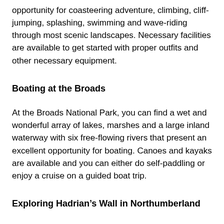opportunity for coasteering adventure, climbing, cliff-jumping, splashing, swimming and wave-riding through most scenic landscapes. Necessary facilities are available to get started with proper outfits and other necessary equipment.
Boating at the Broads
At the Broads National Park, you can find a wet and wonderful array of lakes, marshes and a large inland waterway with six free-flowing rivers that present an excellent opportunity for boating. Canoes and kayaks are available and you can either do self-paddling or enjoy a cruise on a guided boat trip.
Exploring Hadrian’s Wall in Northumberland
Exploring Hadrian’s Wall at Northumberland National Park where Roman soldiers stood on guard against threats from Barbarians during the expansion throughout England…